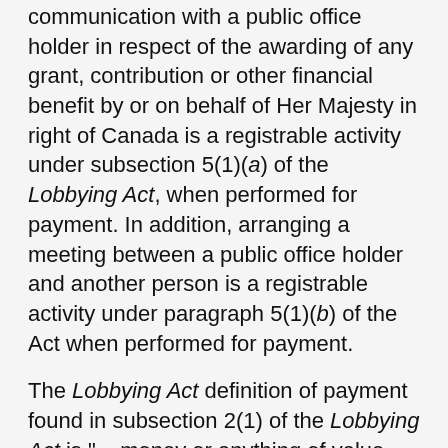communication with a public office holder in respect of the awarding of any grant, contribution or other financial benefit by or on behalf of Her Majesty in right of Canada is a registrable activity under subsection 5(1)(a) of the Lobbying Act, when performed for payment. In addition, arranging a meeting between a public office holder and another person is a registrable activity under paragraph 5(1)(b) of the Act when performed for payment.
The Lobbying Act definition of payment found in subsection 2(1) of the Lobbying Act is "... money or anything of value and includes a contract, promise or agreement to pay money or anything of value."
The Investigations Directorate concluded that